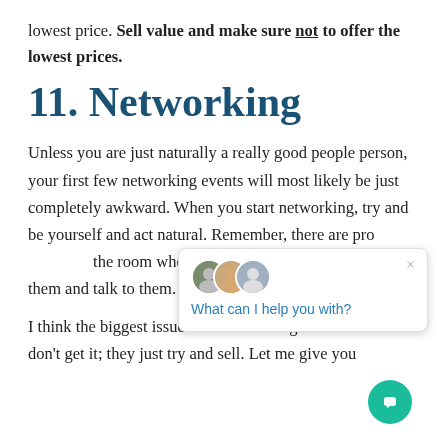lowest price. Sell value and make sure not to offer the lowest prices.
11. Networking
Unless you are just naturally a really good people person, your first few networking events will most likely be just completely awkward. When you start networking, try and be yourself and act natural. Remember, there are pro[bably people in] the room who don't kno[w anyone. Approach] them and talk to them.
I think the biggest issue with networking is tha[t people] that don't get it; they just try and sell. Let me give you
[Figure (screenshot): Chat support widget popup with three avatar icons and the message 'What can I help you with?' with a close button (×). A teal circular chat bubble icon is shown in the bottom right.]